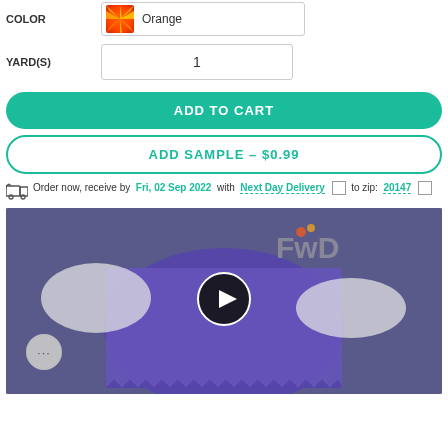COLOR
Orange
YARD(S)
1
ADD TO CART
ADD SAMPLE – $0.99
Order now, receive by Fri, 02 Sep 2022 with Next Day Delivery to zip: 20147
[Figure (screenshot): Video thumbnail showing gloved hands holding a purple fabric swatch, with a play button overlay and FwD watermark logo in top right corner. A chat bubble with ellipsis appears in lower left.]